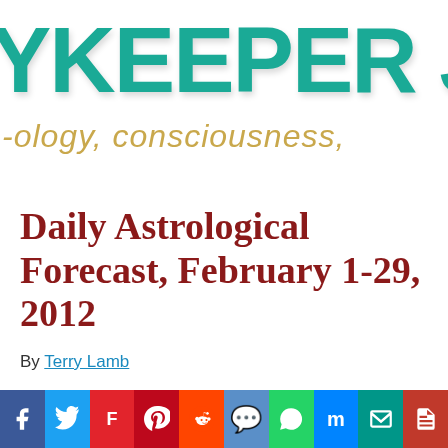[Figure (logo): SkyKeeper Journal logo — large teal bold text 'YKEEPER J' partially visible, with gold italic handwritten text '-ology, consciousness,' below]
Daily Astrological Forecast, February 1-29, 2012
By Terry Lamb
Astrological Forecast
[Figure (infographic): Social media sharing bar with buttons for Facebook, Twitter, Flipboard, Pinterest, Reddit, Comments, WhatsApp, Messenger, Email, Print]